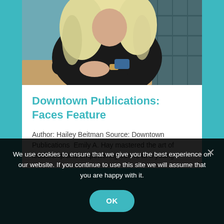[Figure (photo): A woman with long blonde hair wearing a dark jacket, seated at a table with her hands clasped, viewed from above and slightly behind]
Downtown Publications: Faces Feature
Author: Hailey Beitman Source: Downtown Publications  Emily A. Hay mastered the art of leadership and empowering others at a young
We use cookies to ensure that we give you the best experience on our website. If you continue to use this site we will assume that you are happy with it.